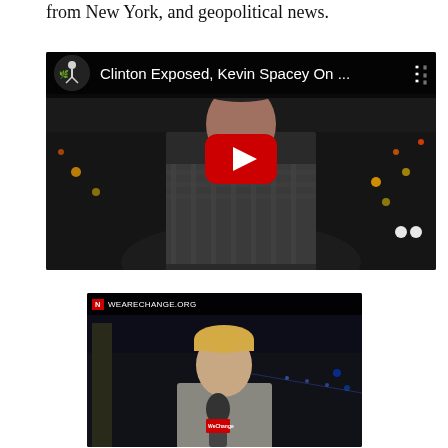from New York, and geopolitical news.
[Figure (screenshot): YouTube video thumbnail showing a man outdoors at night in a city with title 'Clinton Exposed, Kevin Spacey On ...' and a red play button in the center. Channel logo visible top left.]
[Figure (screenshot): Video thumbnail showing a blonde man holding a microphone with WeAreChange.org branding, outdoors at night.]